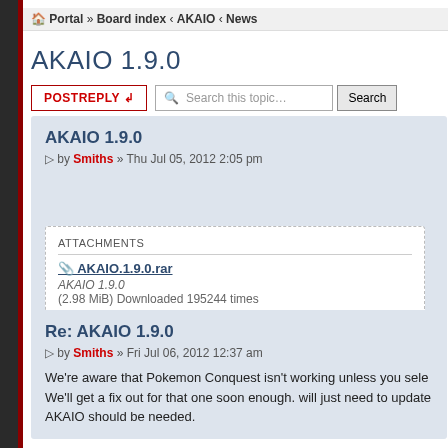Portal » Board index ‹ AKAIO ‹ News
AKAIO 1.9.0
AKAIO 1.9.0
by Smiths » Thu Jul 05, 2012 2:05 pm
ATTACHMENTS
AKAIO.1.9.0.rar
AKAIO 1.9.0
(2.98 MiB) Downloaded 195244 times
Re: AKAIO 1.9.0
by Smiths » Fri Jul 06, 2012 12:37 am
We're aware that Pokemon Conquest isn't working unless you sele We'll get a fix out for that one soon enough. will just need to update AKAIO should be needed.